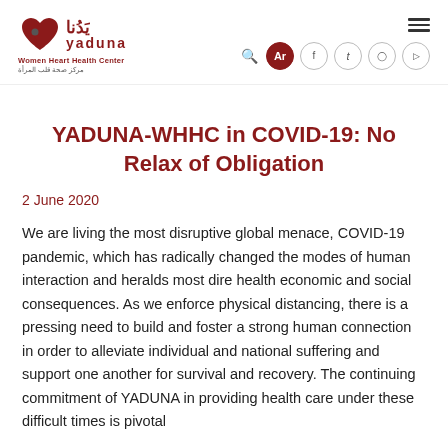Yaduna Women Heart Health Center — navigation header with logo and social icons
YADUNA-WHHC in COVID-19: No Relax of Obligation
2 June 2020
We are living the most disruptive global menace, COVID-19 pandemic, which has radically changed the modes of human interaction and heralds most dire health economic and social consequences. As we enforce physical distancing, there is a pressing need to build and foster a strong human connection in order to alleviate individual and national suffering and support one another for survival and recovery. The continuing commitment of YADUNA in providing health care under these difficult times is pivotal